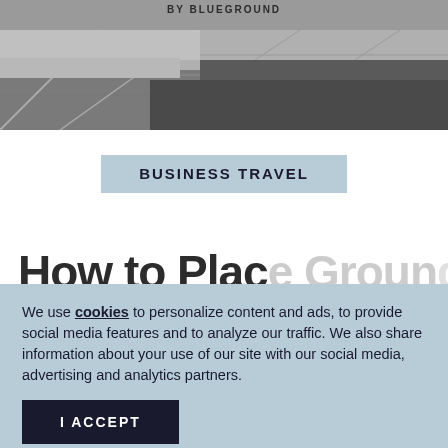BY BLUEGROUND
[Figure (photo): Aerial or ground-level photo of a road or runway surface, gray tones, concrete and asphalt textures visible]
BUSINESS TRAVEL
How to Place Grou...
We use cookies to personalize content and ads, to provide social media features and to analyze our traffic. We also share information about your use of our site with our social media, advertising and analytics partners.